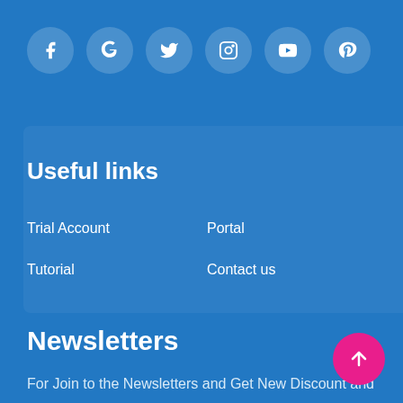[Figure (infographic): Row of 6 social media icon buttons (Facebook, Google+, Twitter, Instagram, YouTube, Pinterest) rendered as white icons in semi-transparent circular backgrounds on blue]
Useful links
Trial Account
Portal
Tutorial
Contact us
Newsletters
For Join to the Newsletters and Get New Discount and